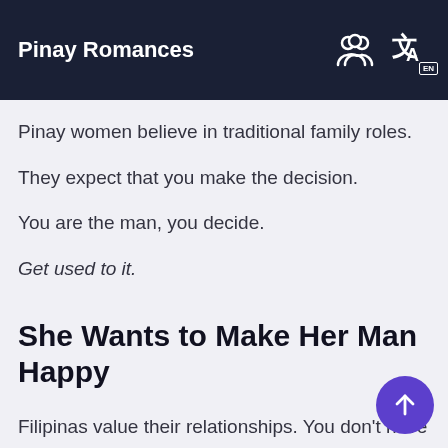Pinay Romances
Pinay women believe in traditional family roles.
They expect that you make the decision.
You are the man, you decide.
Get used to it.
She Wants to Make Her Man Happy
Filipinas value their relationships. You don't have to worry that you get married and boom, she doesn't care about you anymore.